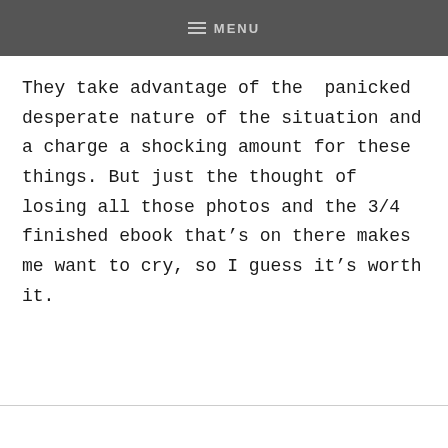MENU
They take advantage of the panicked desperate nature of the situation and a charge a shocking amount for these things. But just the thought of losing all those photos and the 3/4 finished ebook that’s on there makes me want to cry, so I guess it’s worth it.